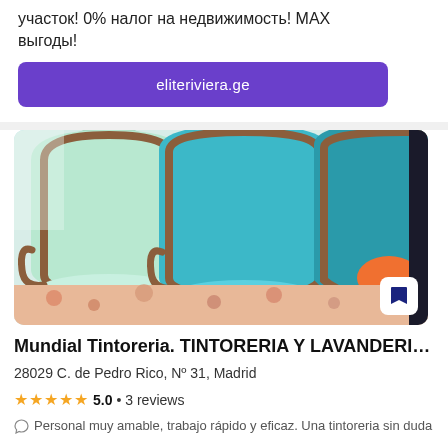участок! 0% налог на недвижимость! MAX выгоды!
eliteriviera.ge
[Figure (photo): Photo of ornate upholstered wingback chairs in mint green and teal/turquoise colors with wooden frames, arranged in a room setting]
Mundial Tintoreria. TINTORERIA Y LAVANDERI…
28029 C. de Pedro Rico, Nº 31, Madrid
★★★★★ 5.0 • 3 reviews
Personal muy amable, trabajo rápido y eficaz. Una tintoreria sin duda